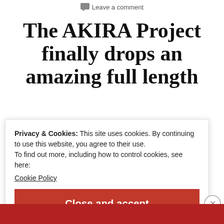Leave a comment
The AKIRA Project finally drops an amazing full length
Privacy & Cookies: This site uses cookies. By continuing to use this website, you agree to their use.
To find out more, including how to control cookies, see here:
Cookie Policy
Close and accept